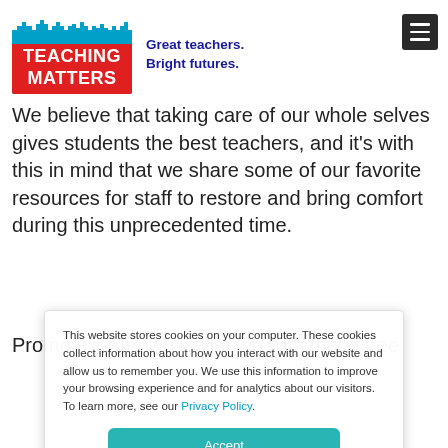[Figure (logo): Teaching Matters logo with cityscape silhouette on top. Red background with white bold text 'TEACHING MATTERS', blue border/base. Tagline 'Great teachers. Bright futures.' in dark blue bold text.]
We believe that taking care of our whole selves gives students the best teachers, and it's with this in mind that we share some of our favorite resources for staff to restore and bring comfort during this unprecedented time.
Promote your own wellbeing with these free
This website stores cookies on your computer. These cookies collect information about how you interact with our website and allow us to remember you. We use this information to improve your browsing experience and for analytics about our visitors. To learn more, see our Privacy Policy.
Accept